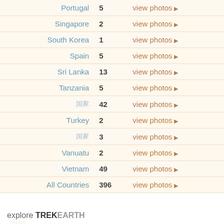| Country | Count | Action |
| --- | --- | --- |
| Portugal | 5 | view photos |
| Singapore | 2 | view photos |
| South Korea | 1 | view photos |
| Spain | 5 | view photos |
| Sri Lanka | 13 | view photos |
| Tanzania | 5 | view photos |
| [non-latin] | 42 | view photos |
| Turkey | 2 | view photos |
| [non-latin] | 3 | view photos |
| Vanuatu | 2 | view photos |
| Vietnam | 49 | view photos |
| All Countries | 396 | view photos |
explore TREKEARTH
TrekEarth Links
Gallery
Forums
Photography
Photos
Critiques
Photo E
Nikon
Canon